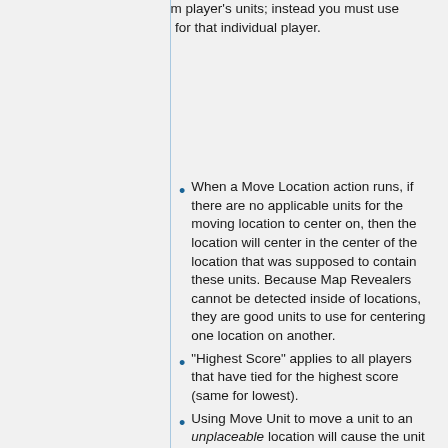*not* remove the phantom player's units; instead you must use specifically remove units for that individual player.
When a Move Location action runs, if there are no applicable units for the moving location to center on, then the location will center in the center of the location that was supposed to contain these units. Because Map Revealers cannot be detected inside of locations, they are good units to use for centering one location on another.
"Highest Score" applies to all players that have tied for the highest score (same for lowest).
Using Move Unit to move a unit to an unplaceable location will cause the unit to halt its current action. unplaceable locations for ground units include impassable terrain and